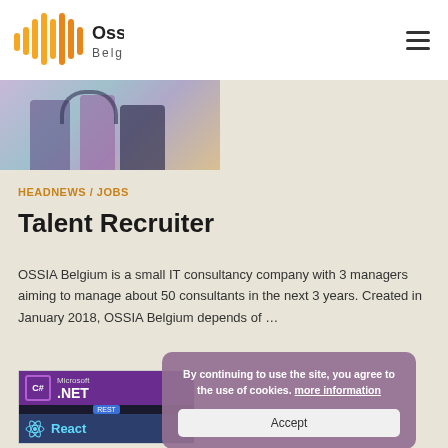Ossia Belgium
[Figure (photo): Partial hero image showing people, cropped at top of page]
HEADNEWS / JOBS
Talent Recruiter
OSSIA Belgium is a small IT consultancy company with 3 managers aiming to manage about 50 consultants in the next 3 years. Created in January 2018, OSSIA Belgium depends of …
[Figure (screenshot): Article thumbnail showing Microsoft .NET and React technology logos]
By continuing to use the site, you agree to the use of cookies. more information
Accept